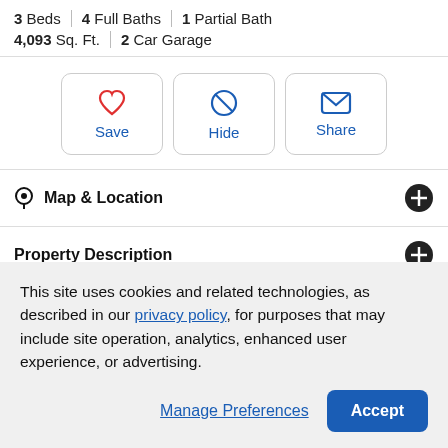3 Beds | 4 Full Baths | 1 Partial Bath
4,093 Sq. Ft. | 2 Car Garage
[Figure (other): Action buttons: Save (heart icon), Hide (circle-slash icon), Share (envelope icon)]
Map & Location
Property Description
Full Property Details
This site uses cookies and related technologies, as described in our privacy policy, for purposes that may include site operation, analytics, enhanced user experience, or advertising.
Manage Preferences | Accept